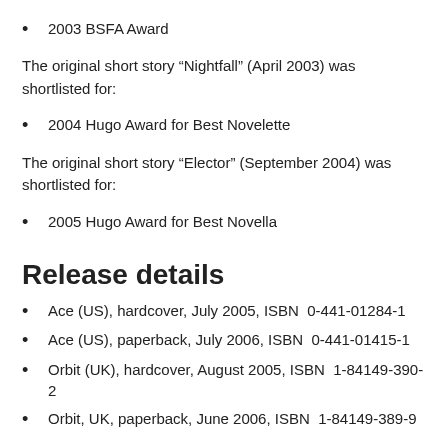2003 BSFA Award
The original short story “Nightfall” (April 2003) was shortlisted for:
2004 Hugo Award for Best Novelette
The original short story “Elector” (September 2004) was shortlisted for:
2005 Hugo Award for Best Novella
Release details
Ace (US), hardcover, July 2005, ISBN  0-441-01284-1
Ace (US), paperback, July 2006, ISBN  0-441-01415-1
Orbit (UK), hardcover, August 2005, ISBN  1-84149-390-2
Orbit, UK, paperback, June 2006, ISBN  1-84149-389-9
Online reso…